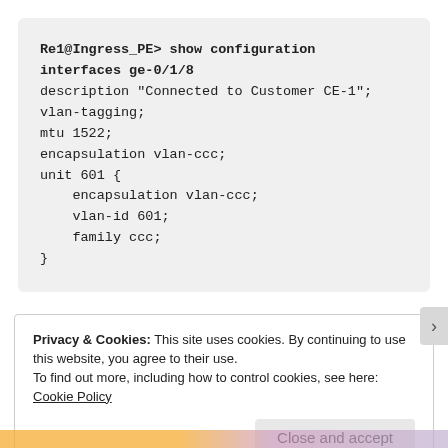[Figure (screenshot): Terminal/CLI code block showing Juniper router interface configuration for Re1@Ingress_PE, interface ge-0/1/8, with vlan-tagging, mtu, encapsulation vlan-ccc, and unit 601 block]
Privacy & Cookies: This site uses cookies. By continuing to use this website, you agree to their use.
To find out more, including how to control cookies, see here: Cookie Policy